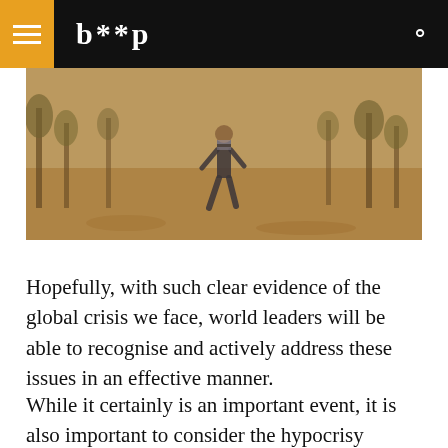b**p
[Figure (photo): A person walking through a dry, wooded landscape with sparse trees and reddish-brown ground cover.]
Hopefully, with such clear evidence of the global crisis we face, world leaders will be able to recognise and actively address these issues in an effective manner.
While it certainly is an important event, it is also important to consider the hypocrisy